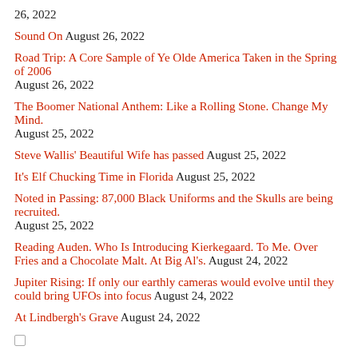26, 2022
Sound On August 26, 2022
Road Trip: A Core Sample of Ye Olde America Taken in the Spring of 2006 August 26, 2022
The Boomer National Anthem: Like a Rolling Stone. Change My Mind. August 25, 2022
Steve Wallis' Beautiful Wife has passed August 25, 2022
It's Elf Chucking Time in Florida August 25, 2022
Noted in Passing: 87,000 Black Uniforms and the Skulls are being recruited. August 25, 2022
Reading Auden. Who Is Introducing Kierkegaard. To Me. Over Fries and a Chocolate Malt. At Big Al's. August 24, 2022
Jupiter Rising: If only our earthly cameras would evolve until they could bring UFOs into focus August 24, 2022
At Lindbergh's Grave August 24, 2022
August 22, 2022